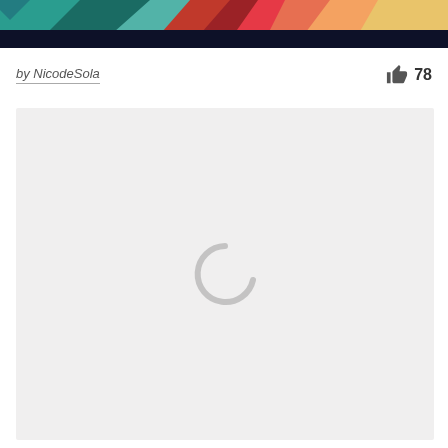[Figure (illustration): Colorful geometric/abstract banner image with teal, red, orange, yellow shapes at top, with a dark navy bar below it]
by NicodeSola
78
[Figure (other): Light gray loading area with a circular spinner/loading indicator in the center]